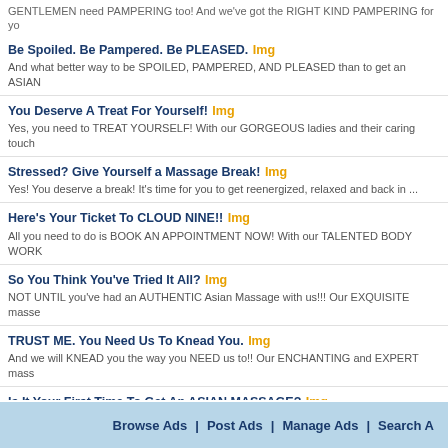GENTLEMEN need PAMPERING too! And we've got the RIGHT KIND PAMPERING for yo
Be Spoiled. Be Pampered. Be PLEASED. Img
And what better way to be SPOILED, PAMPERED, AND PLEASED than to get an ASIAN
You Deserve A Treat For Yourself! Img
Yes, you need to TREAT YOURSELF! With our GORGEOUS ladies and their caring touch
Stressed? Give Yourself a Massage Break! Img
Yes! You deserve a break! It's time for you to get reenergized, relaxed and back in ...
Here's Your Ticket To CLOUD NINE!! Img
All you need to do is BOOK AN APPOINTMENT NOW! With our TALENTED BODY WORK
So You Think You've Tried It All? Img
NOT UNTIL you've had an AUTHENTIC Asian Massage with us!!! Our EXQUISITE masse
TRUST ME. You Need Us To Knead You. Img
And we will KNEAD you the way you NEED us to!! Our ENCHANTING and EXPERT mass
Is It Your First Time To Get An ASIAN MASSAGE? Img
Then let us help you make this first time experience an AMAZING ASIAN MASSAGE ...
It's Time For A REFRESHING Massage Like No Other! Img
It's time to TREAT YOURSELF to a REFRESHING MASSAGE LIKE NO OTHER! With our
Looking For The PERFECT Place To RELAX And UNWIND?? CHECK THIS OU
Don't waste you're time going anywhere else. We've got the PERFECT place for you. ...
Have A Break, Have A Massage! Img
You need a BREAK!! And what better way to take a BREAK than to GET A MASSAGE!? O
Satisfaction?? Try This... Img
You can actually get it right now! Look at these CHARMING LADIES, they will give...
Browse Ads | Post Ads | Manage Ads | Search A